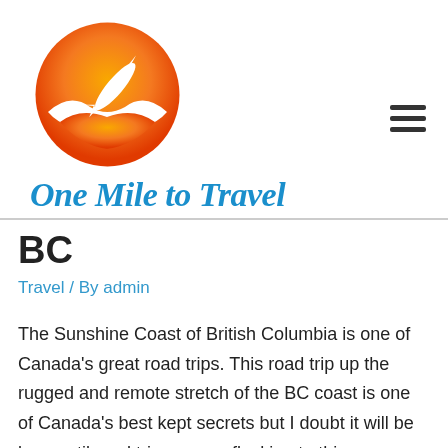[Figure (logo): Circular logo with orange-to-yellow gradient, white airplane silhouette flying upward, white bird/wave shapes below. Logo for 'One Mile to Travel' travel website.]
One Mile to Travel
BC
Travel / By admin
The Sunshine Coast of British Columbia is one of Canada's great road trips. This road trip up the rugged and remote stretch of the BC coast is one of Canada's best kept secrets but I doubt it will be long until road trippers are flocking to this destination.